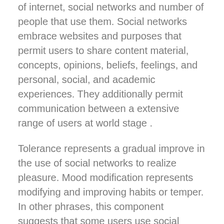of internet, social networks and number of people that use them. Social networks embrace websites and purposes that permit users to share content material, concepts, opinions, beliefs, feelings, and personal, social, and academic experiences. They additionally permit communication between a extensive range of users at world stage .
Tolerance represents a gradual improve in the use of social networks to realize pleasure. Mood modification represents modifying and improving habits or temper. In other phrases, this component suggests that some users use social networks to eliminate unpleasant emotions. Withdrawal is an disagreeable feeling that an individual experiences when disconnected from social networks or discovers she or he is forbidden to use social community.
According to Ahmed and Kabir , university college students can browse any tutorial web site related to their course anytime and anywhere by accessing the web . In this part, early analysis indicated that the social media utilization for